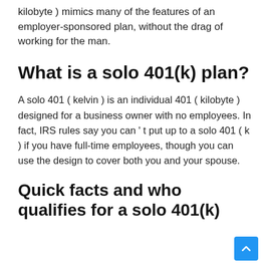kilobyte ) mimics many of the features of an employer-sponsored plan, without the drag of working for the man.
What is a solo 401(k) plan?
A solo 401 ( kelvin ) is an individual 401 ( kilobyte ) designed for a business owner with no employees. In fact, IRS rules say you can ’ t put up to a solo 401 ( k ) if you have full-time employees, though you can use the design to cover both you and your spouse.
Quick facts and who qualifies for a solo 401(k)